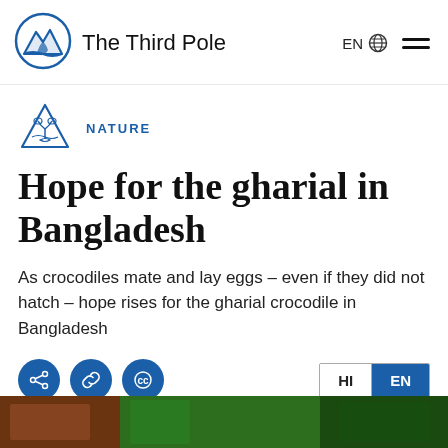The Third Pole
[Figure (logo): The Third Pole logo: blue circle with mountain and water/hand icon]
NATURE
Hope for the gharial in Bangladesh
As crocodiles mate and lay eggs – even if they did not hatch – hope rises for the gharial crocodile in Bangladesh
[Figure (photo): Partial view of a photo at the bottom of the page, showing crocodile/nature scene]